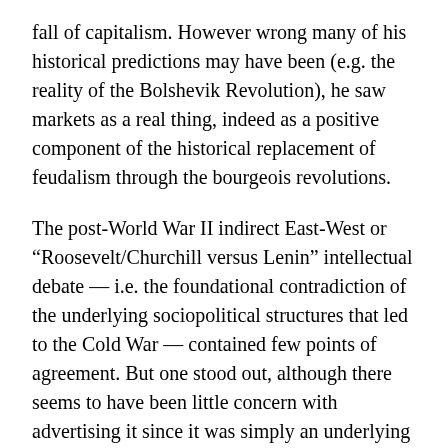fall of capitalism. However wrong many of his historical predictions may have been (e.g. the reality of the Bolshevik Revolution), he saw markets as a real thing, indeed as a positive component of the historical replacement of feudalism through the bourgeois revolutions.
The post-World War II indirect East-West or “Roosevelt/Churchill versus Lenin” intellectual debate — i.e. the foundational contradiction of the underlying sociopolitical structures that led to the Cold War — contained few points of agreement. But one stood out, although there seems to have been little concern with advertising it since it was simply an underlying assumption of both sides: Small-scale, and/or peasant, agriculture would disappear.
The West saw it disappearing as agriculture became subsumed by the “efficiencies” that the capitalist system would bring, while the Soviet bloc saw it